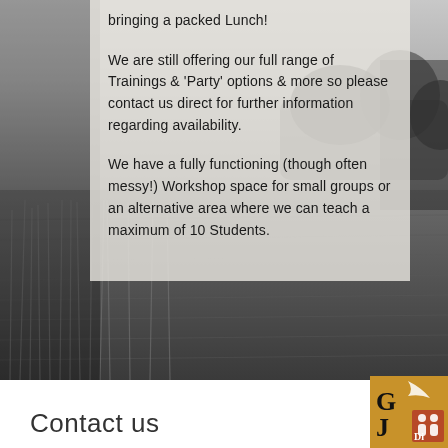[Figure (photo): Black and white photograph of a wheat or grain field with trees visible in the background, misty/foggy atmosphere]
bringing a packed Lunch!
We are still offering our full range of Trainings & 'Party' options & more so please contact us direct for further information regarding availability.
We have a fully functioning (though often messy!) Workshop space for small groups or an alternative area where we can teach a maximum of 10 Students.
[Figure (logo): GJ Di logo on gold/amber background with stylized figures]
Contact us